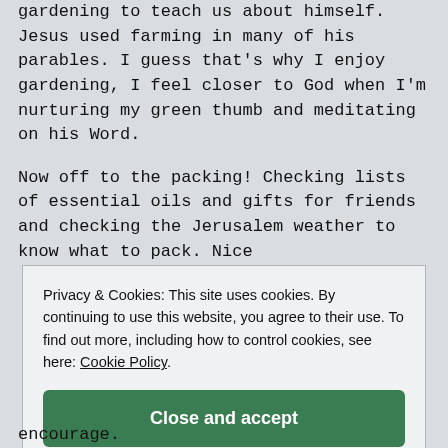gardening to teach us about himself. Jesus used farming in many of his parables. I guess that's why I enjoy gardening, I feel closer to God when I'm nurturing my green thumb and meditating on his Word.
Now off to the packing! Checking lists of essential oils and gifts for friends and checking the Jerusalem weather to know what to pack. Nice
Privacy & Cookies: This site uses cookies. By continuing to use this website, you agree to their use. To find out more, including how to control cookies, see here: Cookie Policy
Close and accept
encourage.